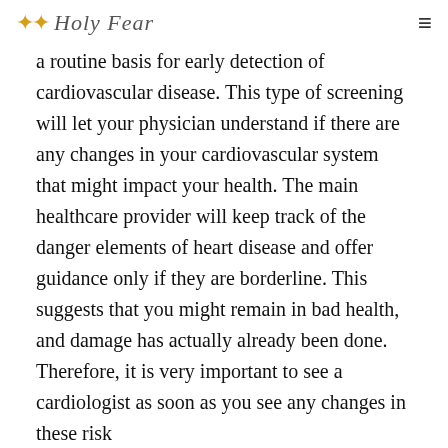Holy Fear
a routine basis for early detection of cardiovascular disease. This type of screening will let your physician understand if there are any changes in your cardiovascular system that might impact your health. The main healthcare provider will keep track of the danger elements of heart disease and offer guidance only if they are borderline. This suggests that you might remain in bad health, and damage has actually already been done. Therefore, it is very important to see a cardiologist as soon as you see any changes in these risk